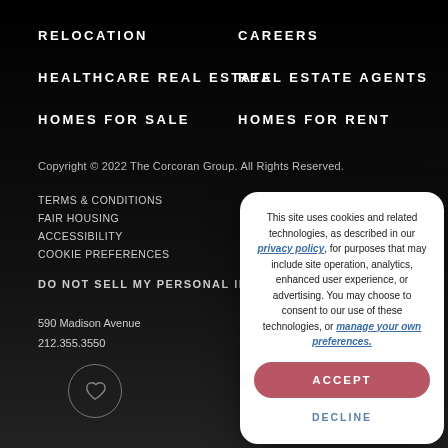RELOCATION
CAREERS
HEALTHCARE REAL ESTATE
REAL ESTATE AGENTS
HOMES FOR SALE
HOMES FOR RENT
Copyright © 2022 The Corcoran Group. All Rights Reserved.
TERMS & CONDITIONS
FAIR HOUSING
ACCESSIBILITY
COOKIE PREFERENCES
DO NOT SELL MY PERSONAL INFORMATION
590 Madison Avenue
212.355.3550
This site uses cookies and related technologies, as described in our privacy policy, for purposes that may include site operation, analytics, enhanced user experience, or advertising. You may choose to consent to our use of these technologies, or manage your own preferences.
ACCEPT
DECLINE